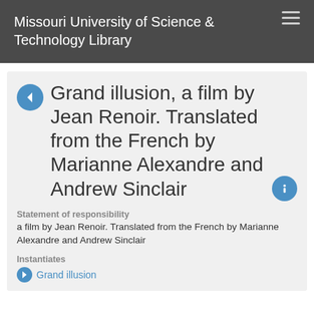Missouri University of Science & Technology Library
Grand illusion, a film by Jean Renoir. Translated from the French by Marianne Alexandre and Andrew Sinclair
Statement of responsibility
a film by Jean Renoir. Translated from the French by Marianne Alexandre and Andrew Sinclair
Instantiates
Grand illusion